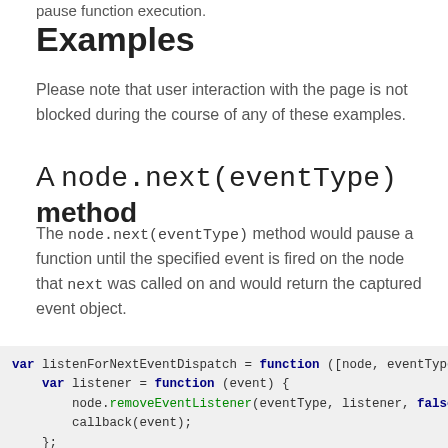pause function execution.
Examples
Please note that user interaction with the page is not blocked during the course of any of these examples.
A node.next(eventType) method
The node.next(eventType) method would pause a function until the specified event is fired on the node that next was called on and would return the captured event object.
var listenForNextEventDispatch = function ([node, eventType
    var listener = function (event) {
        node.removeEventListener(eventType, listener, false
        callback(event);
    };
    node.addEventListener(eventType, listener, false);
};
Node.prototype.next = function (eventType) {
    return [listenForNextEventDispatch, [this, eventType]];
}